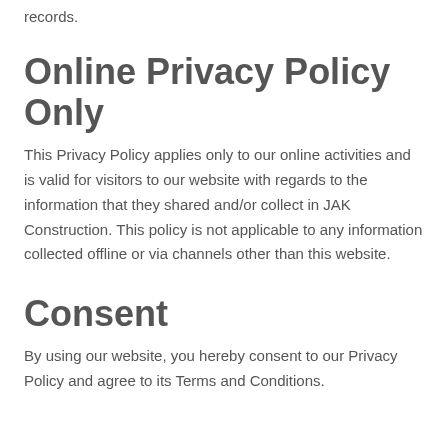records.
Online Privacy Policy Only
This Privacy Policy applies only to our online activities and is valid for visitors to our website with regards to the information that they shared and/or collect in JAK Construction. This policy is not applicable to any information collected offline or via channels other than this website.
Consent
By using our website, you hereby consent to our Privacy Policy and agree to its Terms and Conditions.